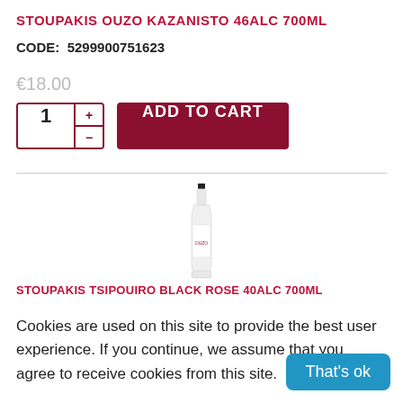STOUPAKIS OUZO KAZANISTO 46ALC 700ML
CODE:  5299900751623
€18.00
[Figure (screenshot): Quantity selector with plus/minus buttons and Add to Cart button]
[Figure (photo): Product bottle image of Stoupakis Tsipouiro Black Rose 40ALC 700ML]
STOUPAKIS TSIPOUIRO BLACK ROSE 40ALC 700ML
Cookies are used on this site to provide the best user experience. If you continue, we assume that you agree to receive cookies from this site.